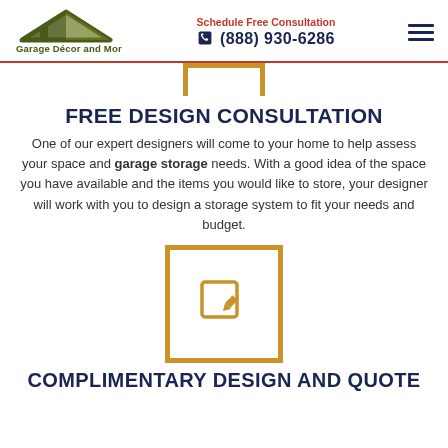Garage Décor and More | Schedule Free Consultation | (888) 930-6286
[Figure (other): Gold bordered square icon box (top, partially visible)]
FREE DESIGN CONSULTATION
One of our expert designers will come to your home to help assess your space and garage storage needs. With a good idea of the space you have available and the items you would like to store, your designer will work with you to design a storage system to fit your needs and budget.
[Figure (illustration): Gold bordered square box with a pencil/edit icon inside]
COMPLIMENTARY DESIGN AND QUOTE